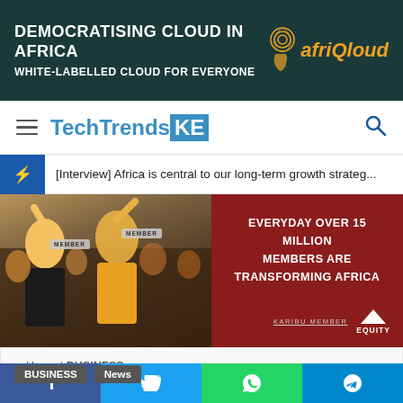[Figure (other): AfriQloud advertisement banner: 'DEMOCRATISING CLOUD IN AFRICA - WHITE-LABELLED CLOUD FOR EVERYONE' with fingerprint logo on dark teal background]
TechTrendsKE
[Interview] Africa is central to our long-term growth strateg...
[Figure (other): Equity Bank advertisement showing two people with MEMBER badges in a crowd on left, and red panel on right reading 'EVERYDAY OVER 15 MILLION MEMBERS ARE TRANSFORMING AFRICA' with KARIBU MEMBER and Equity logo]
Home / BUSINESS
BUSINESS
News
Facebook | Twitter | WhatsApp | Telegram social share buttons